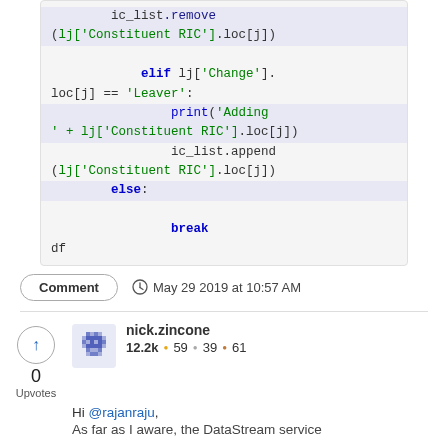[Figure (screenshot): Code block showing Python snippet with ic_list.remove, elif lj['Change'].loc[j] == 'Leaver', print, ic_list.append, else, break, df]
Comment   May 29 2019 at 10:57 AM
nick.zincone  12.2k  59  39  61
Hi @rajanraju,
As far as I aware, the DataStream service